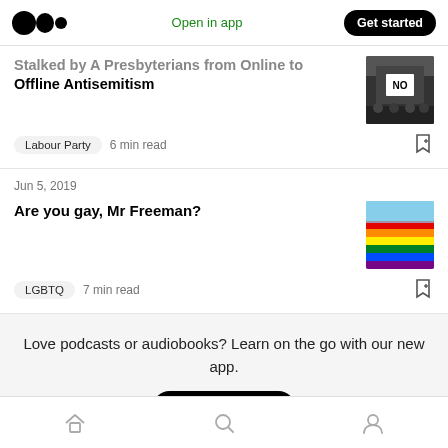Medium logo | Open in app | Get started
Stalked by A Presbyterians from Online to Offline Antisemitism
Labour Party  6 min read
Jun 5, 2019
Are you gay, Mr Freeman?
LGBTQ  7 min read
Love podcasts or audiobooks? Learn on the go with our new app.
Try Knowable
Home | Search | Profile